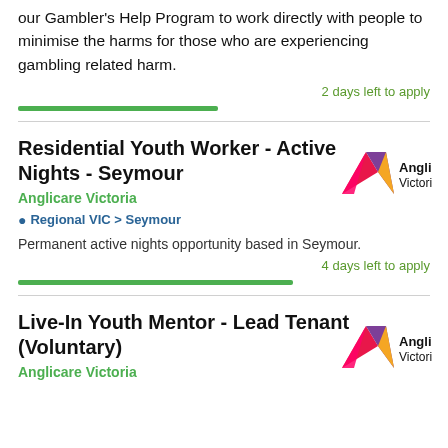our Gambler's Help Program to work directly with people to minimise the harms for those who are experiencing gambling related harm.
2 days left to apply
Residential Youth Worker - Active Nights - Seymour
Anglicare Victoria
Regional VIC > Seymour
Permanent active nights opportunity based in Seymour.
4 days left to apply
Live-In Youth Mentor - Lead Tenant (Voluntary)
Anglicare Victoria